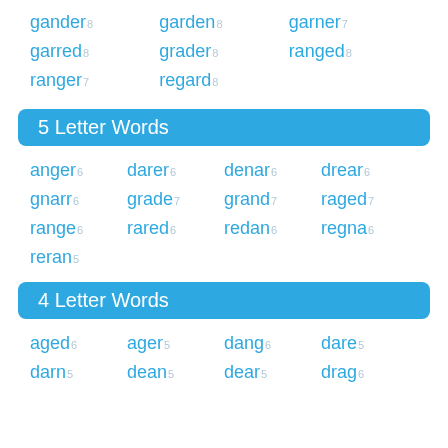gander8 garden8 garner7 garred8 grader8 ranged8 ranger7 regard8
5 Letter Words
anger6 darer6 denar6 drear6 gnarr6 grade7 grand7 raged7 range6 rared6 redan6 regna6 reran5
4 Letter Words
aged6 ager5 dang6 dare5 darn5 dean5 dear5 drag6